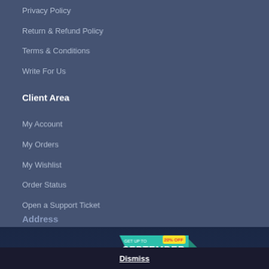Privacy Policy
Return & Refund Policy
Terms & Conditions
Write For Us
Client Area
My Account
My Orders
My Wishlist
Order Status
Open a Support Ticket
Address
[Figure (infographic): GET UP TO 20% OFF SEPTEMBER promotional banner badge in teal and yellow]
Level 10, 21 Queen Street Auckland 1010, New Zealand
Dismiss